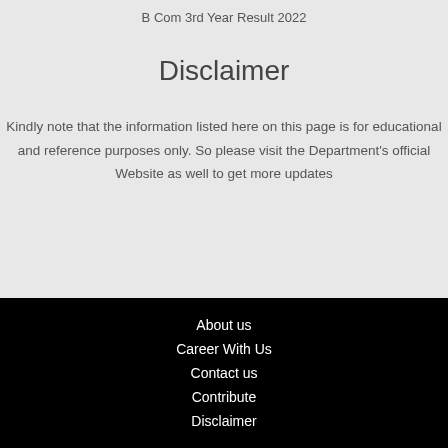B Com 3rd Year Result 2022
Disclaimer
Kindly note that the information listed here on this page is for educational and reference purposes only. So please visit the Department's official Website as well to get more updates
About us
Career With Us
Contact us
Contribute
Disclaimer